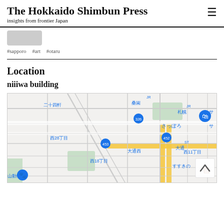The Hokkaido Shimbun Press
insights from frontier Japan
[Figure (other): Small grey placeholder image]
#sapporo   #art   #otaru
Location
niiiwa building
[Figure (map): Google Maps view of central Sapporo area showing streets, labels in Japanese: 二十四軒, 桑園, 札幌, さっぽろ, 西28丁目, 西18丁目, 大通西, 西11丁目, すすきの, 山動物園; route markers 326, 452, 453; yellow highlighted main roads; green parks; scroll-up button in bottom right corner.]